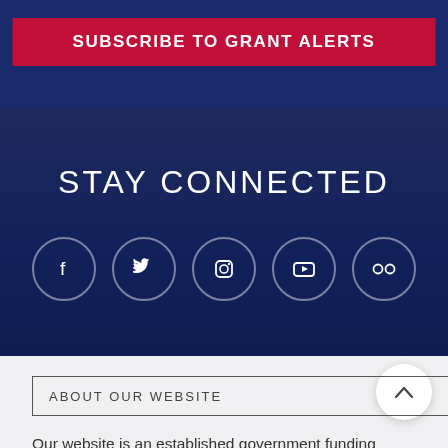SUBSCRIBE TO GRANT ALERTS
STAY CONNECTED
[Figure (infographic): Five circular social media icon buttons: Facebook, Twitter, Instagram, YouTube, Flickr]
ABOUT OUR WEBSITE
Our website is an established government funding resource portal focused on providing legitimate information, resource, and help on government grants and federal funding. From year 2009, we have attracted many users on 5th place based on